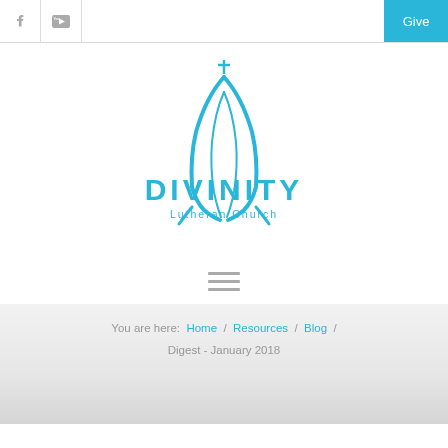f  YouTube  Give
[Figure (logo): Divinity Lutheran Church logo — blue praying hands silhouette with cross, text DIVINITY Lutheran Church]
[Figure (other): Hamburger menu icon (three horizontal lines)]
You are here:  Home / Resources / Blog / Digest - January 2018